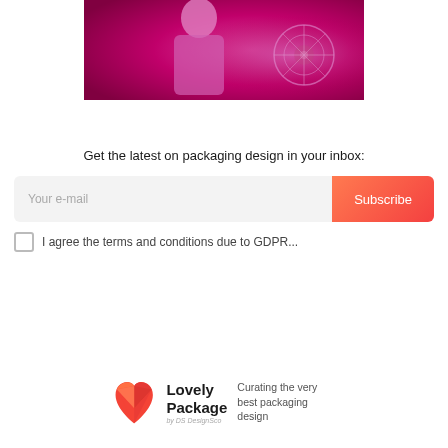[Figure (photo): A person in a pink/magenta-tinted photo standing in front of a floral background, with a strong pink/fuchsia color overlay]
Get the latest on packaging design in your inbox:
Your e-mail
Subscribe
I agree the terms and conditions due to GDPR...
[Figure (logo): Lovely Package logo — a red/coral origami heart shape]
Lovely Package
by DS DesignSco
Curating the very best packaging design